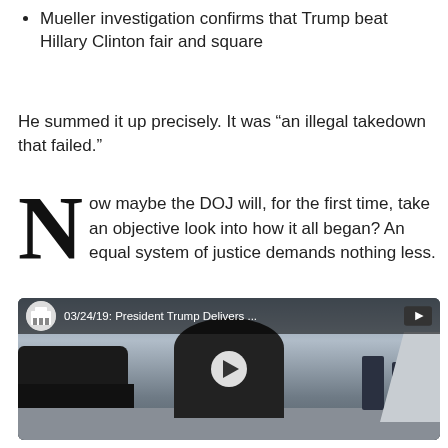Mueller investigation confirms that Trump beat Hillary Clinton fair and square
He summed it up precisely. It was “an illegal takedown that failed.”
Now maybe the DOJ will, for the first time, take an objective look into how it all began? An equal system of justice demands nothing less.
[Figure (screenshot): YouTube video thumbnail showing President Trump on an airport tarmac with title '03/24/19: President Trump Delivers ...' and a play button overlay]